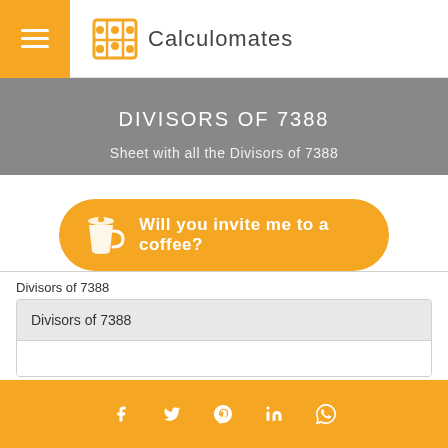Calculomates
DIVISORS OF 7388
Sheet with all the Divisors of 7388
Will you invite me to a coffee?
Divisors of 7388
| Divisors of 7388 |
| --- |
|  |
f  t  p  in  whatsapp